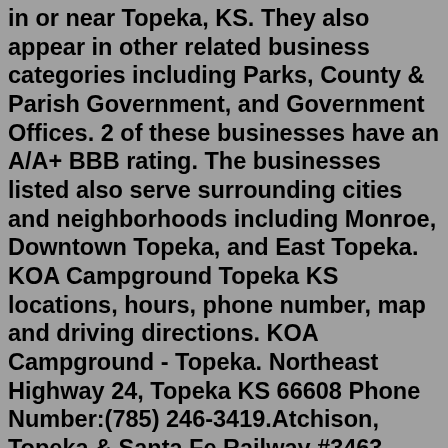in or near Topeka, KS. They also appear in other related business categories including Parks, County & Parish Government, and Government Offices. 2 of these businesses have an A/A+ BBB rating. The businesses listed also serve surrounding cities and neighborhoods including Monroe, Downtown Topeka, and East Topeka. KOA Campground Topeka KS locations, hours, phone number, map and driving directions. KOA Campground - Topeka. Northeast Highway 24, Topeka KS 66608 Phone Number:(785) 246-3419.Atchison, Topeka & Santa Fe Railway #3463. Forbes Field (FOE) Martin B-57 Canberra. Topeka Amtrak Station. Martin B-57 Canberra. US Bank Building. Kansas State Capitol. Neon sign of the Jayhawk Hotel. Charles Curtis House Museum.Park Description. Lake Shawnee Campground in Topeka Kansas provides partial and primitive (no water, electric, or sewer) hookup RV and tent camping adjacent to a recreational lake; paved walking paths, a beach and golf course highlight some of the outdoor activities. Page In-Progress. This page is currently